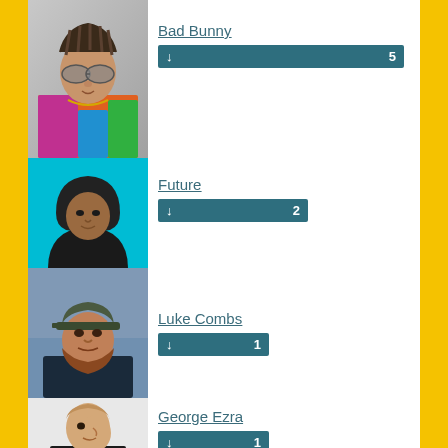[Figure (photo): Photo of Bad Bunny, male artist with braided hair and round sunglasses wearing a colorful patterned shirt]
Bad Bunny
↓ 5
[Figure (photo): Photo of Future, male artist wearing a black hoodie against a cyan/turquoise background]
Future
↓ 2
[Figure (photo): Photo of Luke Combs, male artist wearing a cap and navy blue jacket with a beard]
Luke Combs
↓ 1
[Figure (photo): Photo of George Ezra, young male artist in a dark top against a white background]
George Ezra
↓ 1